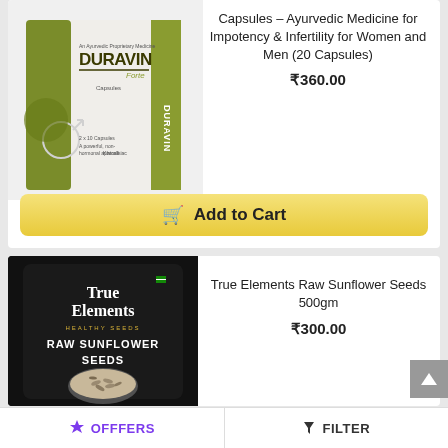[Figure (photo): DURAVIN Forte Capsules product box - olive green and white packaging, Ayurvedic Proprietary Medicine label by Kairali]
Capsules – Ayurvedic Medicine for Impotency & Infertility for Women and Men (20 Capsules)
₹360.00
Add to Cart
[Figure (photo): True Elements Raw Sunflower Seeds 500gm product - dark black packaging with white text and image of sunflower seeds in a bowl]
True Elements Raw Sunflower Seeds 500gm
₹300.00
OFFFERS
FILTER